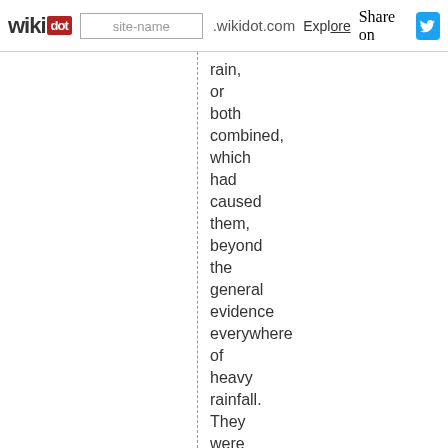wikidot | site-name .wikidot.com | Explore | Share on Twitter
rain, or both combined, which had caused them, beyond the general evidence everywhere of heavy rainfall. They were suggestive to me of some